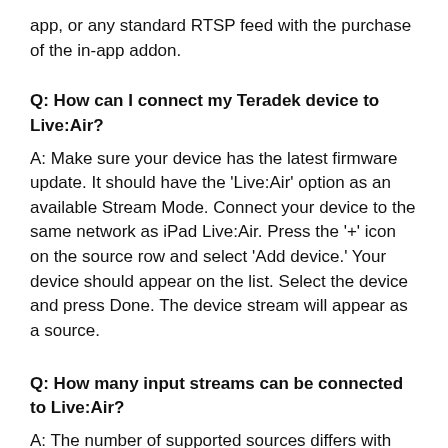app, or any standard RTSP feed with the purchase of the in-app addon.
Q: How can I connect my Teradek device to Live:Air?
A: Make sure your device has the latest firmware update. It should have the ‘Live:Air’ option as an available Stream Mode. Connect your device to the same network as iPad Live:Air. Press the ‘+’ icon on the source row and select ‘Add device.’ Your device should appear on the list. Select the device and press Done. The device stream will appear as a source.
Q: How many input streams can be connected to Live:Air?
A: The number of supported sources differs with different iPad models the following is a guideline.